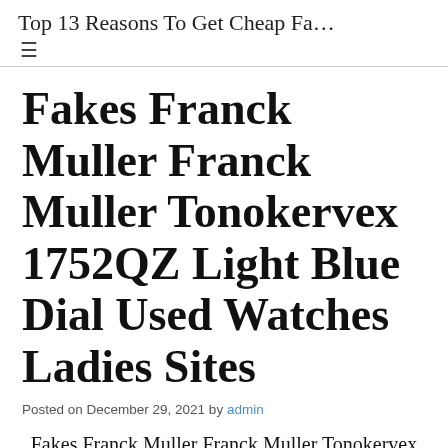Top 13 Reasons To Get Cheap Fa…
Fakes Franck Muller Franck Muller Tonokervex 1752QZ Light Blue Dial Used Watches Ladies Sites
Posted on December 29, 2021 by admin
Fakes Franck Muller Franck Muller Tonokervex 1752QZ Light Blue